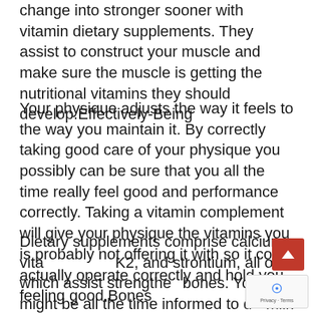change into stronger sooner with vitamin dietary supplements. They assist to construct your muscle and make sure the muscle is getting the nutritional vitamins they should develop.Effectively-Being
Your physique adjusts the way it feels to the way you maintain it. By correctly taking good care of your physique you possibly can be sure that you all the time really feel good and performance correctly. Taking a vitamin complement will give your physique the vitamins you is probably not offering it with so it could actually operate correctly and hold you feeling good.Bones
Dietary supplements comprise calcium, vitamin K2, and strontium, all of which assist strengthen bones. You might be all the time informed to drink milk when you find yourself rising as much as